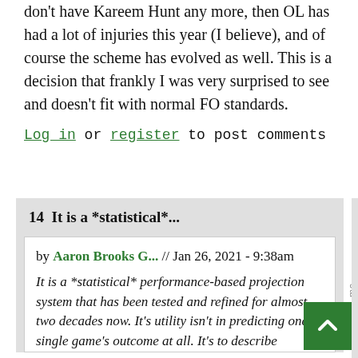don't have Kareem Hunt any more, then OL has had a lot of injuries this year (I believe), and of course the scheme has evolved as well. This is a decision that frankly I was very surprised to see and doesn't fit with normal FO standards.
Log in or register to post comments
14  It is a *statistical*...
by Aaron Brooks G... // Jan 26, 2021 - 9:38am
It is a *statistical* performance-based projection system that has been tested and refined for almost two decades now. It's utility isn't in predicting one single game's outcome at all. It's to describe